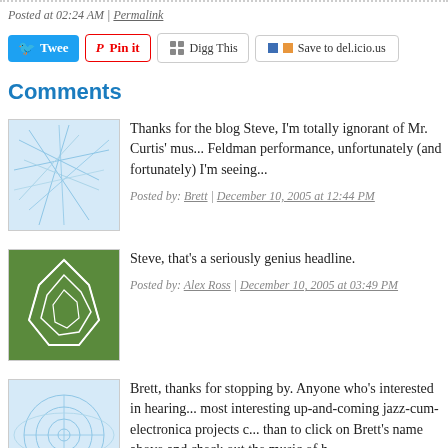Posted at 02:24 AM | Permalink
[Figure (screenshot): Social sharing buttons: Tweet, Pin it, Digg This, Save to del.icio.us]
Comments
Thanks for the blog Steve, I'm totally ignorant of Mr. Curtis' mu... Feldman performance, unfortunately (and fortunately) I'm seeing...
Posted by: Brett | December 10, 2005 at 12:44 PM
Steve, that's a seriously genius headline.
Posted by: Alex Ross | December 10, 2005 at 03:49 PM
Brett, thanks for stopping by. Anyone who's interested in hearing... most interesting up-and-coming jazz-cum-electronica projects c... than to click on Brett's name above and check out the music of h...

Alex, I hope it doesn't dent your admiration too much if I confess... my own TONY headlines. Of course, I did write that one, too...
Posted by: Steve Smith | December 11, 2005 at 02:55 AM